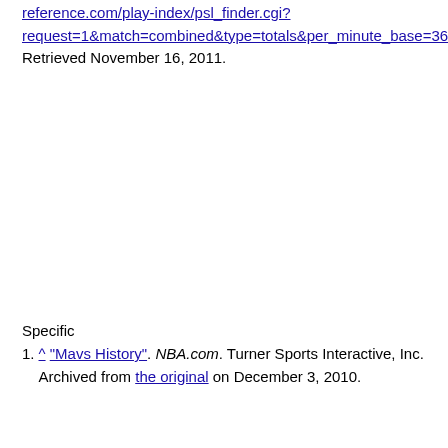reference.com/play-index/psl_finder.cgi?request=1&match=combined&type=totals&per_minute_base=36&lg_i Retrieved November 16, 2011.
Specific
1. ^ "Mavs History". NBA.com. Turner Sports Interactive, Inc. Archived from the original on December 3, 2010.